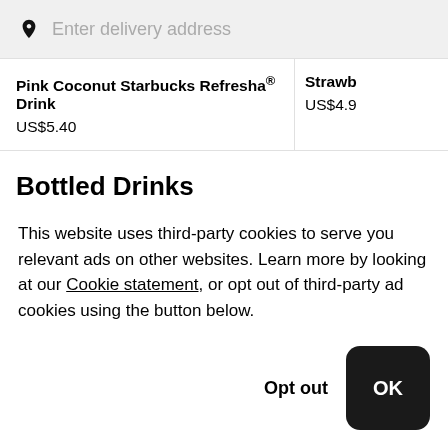Enter delivery address
Pink Coconut Starbucks Refresha® Drink
US$5.40
Strawb...
US$4.90
Bottled Drinks
From Starbucks ® (Greyhound Retail Park DT)
This website uses third-party cookies to serve you relevant ads on other websites. Learn more by looking at our Cookie statement, or opt out of third-party ad cookies using the button below.
Opt out
OK